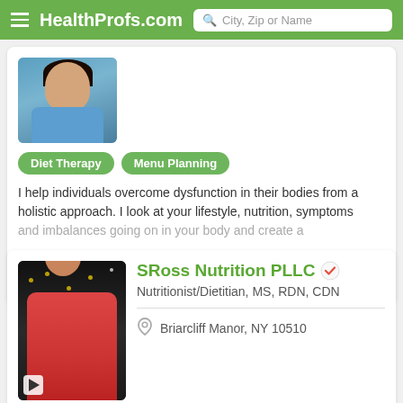HealthProfs.com  City, Zip or Name
Diet Therapy
Menu Planning
I help individuals overcome dysfunction in their bodies from a holistic approach. I look at your lifestyle, nutrition, symptoms and imbalances going on in your body and create a
Email
(704) 665-0042
SRoss Nutrition PLLC
Nutritionist/Dietitian, MS, RDN, CDN
Briarcliff Manor, NY 10510